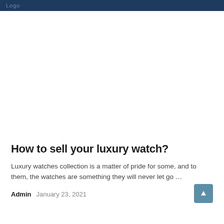Logo
How to sell your luxury watch?
Luxury watches collection is a matter of pride for some, and to them, the watches are something they will never let go …
Admin   January 23, 2021